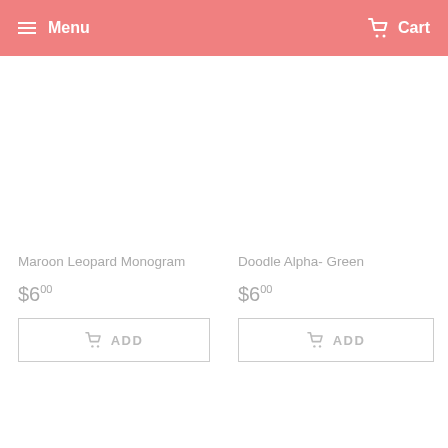Menu  Cart
Maroon Leopard Monogram
$6.00
Doodle Alpha- Green
$6.00